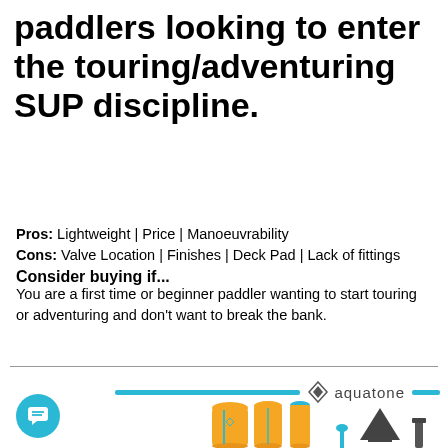paddlers looking to enter the touring/adventuring SUP discipline.
Pros: Lightweight | Price | Manoeuvrability
Cons: Valve Location | Finishes | Deck Pad | Lack of fittings
Consider buying if...
You are a first time or beginner paddler wanting to start touring or adventuring and don't want to break the bank.
[Figure (logo): Aquatone brand logo with blue horizontal stripe and diamond logo mark]
[Figure (photo): Aquatone SUP paddle boards shown upright from the front, along with accessories including paddle, fin, and pump]